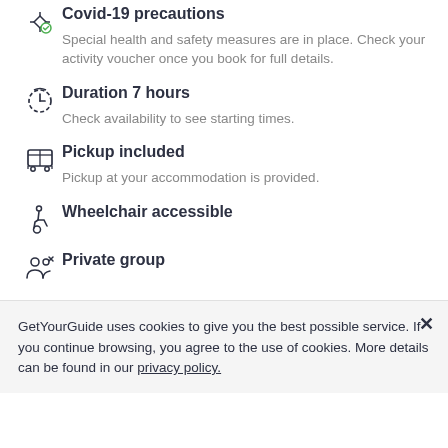Covid-19 precautions
Special health and safety measures are in place. Check your activity voucher once you book for full details.
Duration 7 hours
Check availability to see starting times.
Pickup included
Pickup at your accommodation is provided.
Wheelchair accessible
Private group
GetYourGuide uses cookies to give you the best possible service. If you continue browsing, you agree to the use of cookies. More details can be found in our privacy policy.